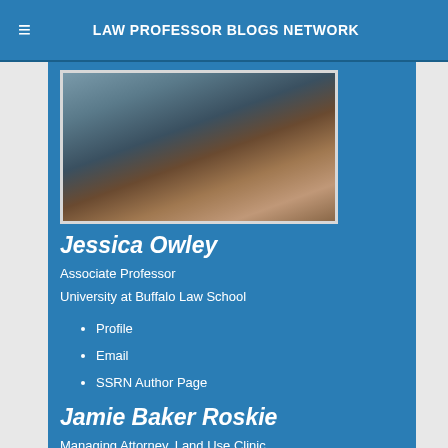LAW PROFESSOR BLOGS NETWORK
[Figure (photo): Photo of hands clasped together, people in blue clothing, appears to be a collaborative or supportive gesture]
Jessica Owley
Associate Professor
University at Buffalo Law School
Profile
Email
SSRN Author Page
Jamie Baker Roskie
Managing Attorney, Land Use Clinic
Univ. of Georgia School of Law
Profile
Email